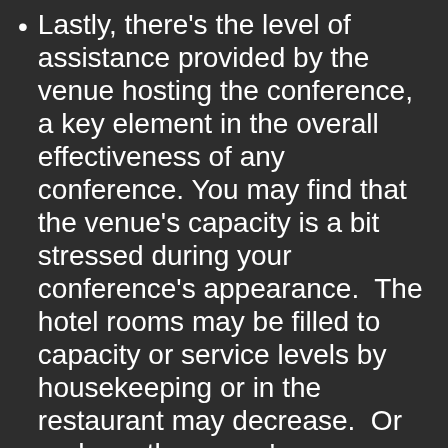Lastly, there's the level of assistance provided by the venue hosting the conference, a key element in the overall effectiveness of any conference. You may find that the venue's capacity is a bit stressed during your conference's appearance.  The hotel rooms may be filled to capacity or service levels by housekeeping or in the restaurant may decrease.  Or perhaps the venue's management IS well equipped to handle the increased volume of people walking their halls, and thus provide partner-like assistance to conference attendees.  If you happen to be on the receiving end of poor service, please be kind and report it to the facility's manager.  Despite what some